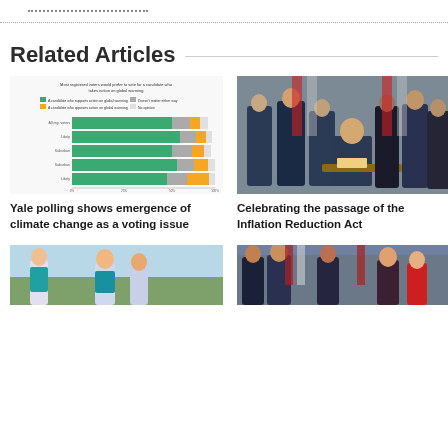Related Articles
[Figure (infographic): Horizontal stacked bar chart showing Yale polling data on climate change voting preferences]
Yale polling shows emergence of climate change as a voting issue
[Figure (photo): Group of officials celebrating the signing of the Inflation Reduction Act, with person seated at desk signing document surrounded by standing officials and American flags]
Celebrating the passage of the Inflation Reduction Act
[Figure (photo): Group of young people outdoors, partially visible]
[Figure (photo): Group of officials applauding at an event, partially visible]